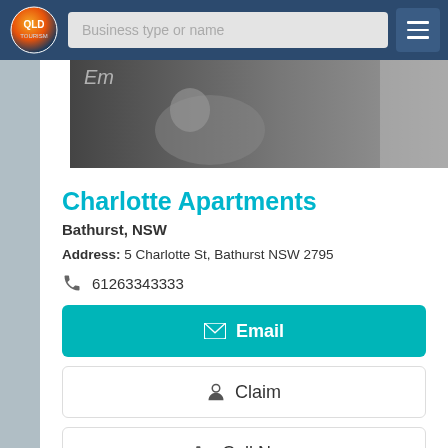Business type or name
[Figure (photo): Partial photo strip showing a cat and some objects, partially visible at top of page]
Charlotte Apartments
Bathurst, NSW
Address: 5 Charlotte St, Bathurst NSW 2795
61263343333
Email
Claim
Call Now
View Details